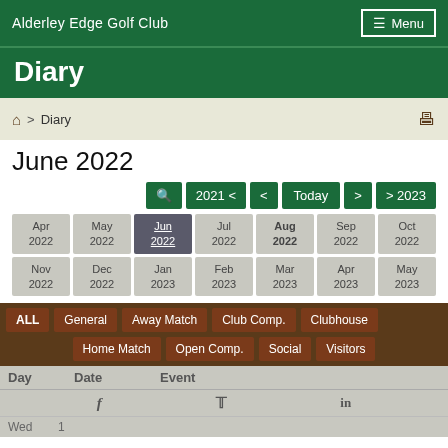Alderley Edge Golf Club  ☰ Menu
Diary
🏠 > Diary
June 2022
[Figure (screenshot): Calendar navigation buttons: search icon, 2021 <, <, Today, >, > 2023]
| Apr 2022 | May 2022 | Jun 2022 | Jul 2022 | Aug 2022 | Sep 2022 | Oct 2022 |
| Nov 2022 | Dec 2022 | Jan 2023 | Feb 2023 | Mar 2023 | Apr 2023 | May 2023 |
ALL  General  Away Match  Club Comp.  Clubhouse  Home Match  Open Comp.  Social  Visitors
| Day | Date | Event |
| --- | --- | --- |
| Wed | 1 |  |